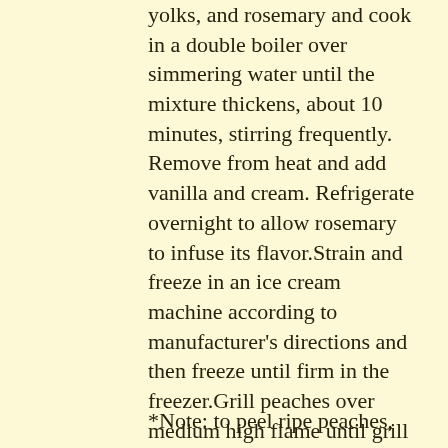yolks, and rosemary and cook in a double boiler over simmering water until the mixture thickens, about 10 minutes, stirring frequently. Remove from heat and add vanilla and cream. Refrigerate overnight to allow rosemary to infuse its flavor.Strain and freeze in an ice cream machine according to manufacturer's directions and then freeze until firm in the freezer.Grill peaches over medium high flame until grill marks appear and the natural sugars in the peaches begin to caramelize, about 3-5 minutes. Serve peaches with a scoop of rosemary ice cream.
*Note: to peel ripe peaches, score